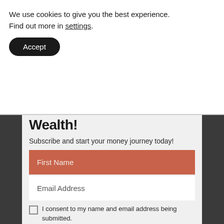We use cookies to give you the best experience. Find out more in settings.
Accept
Wealth!
Subscribe and start your money journey today!
First Name
Email Address
I consent to my name and email address being submitted.
JOIN THE LIVE YOUR WAGE TEAM!
I respect your privacy. I will never, ever send you spam.